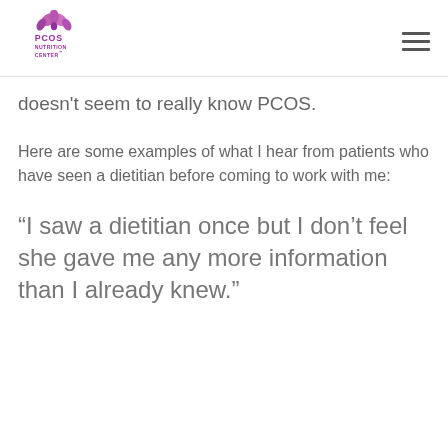PCOS Nutrition Center
doesn't seem to really know PCOS.
Here are some examples of what I hear from patients who have seen a dietitian before coming to work with me:
“I saw a dietitian once but I don’t feel she gave me any more information than I already knew.”